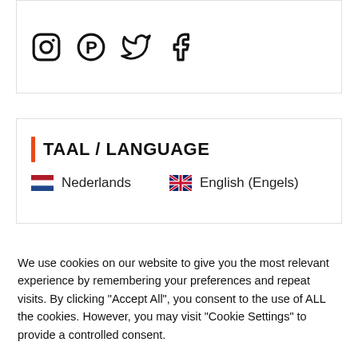[Figure (illustration): Social media icons: Instagram, Pinterest, Twitter, Facebook]
TAAL / LANGUAGE
Nederlands   English (Engels)
We use cookies on our website to give you the most relevant experience by remembering your preferences and repeat visits. By clicking “Accept All”, you consent to the use of ALL the cookies. However, you may visit “Cookie Settings” to provide a controlled consent.
Cookie Settings   Accept All